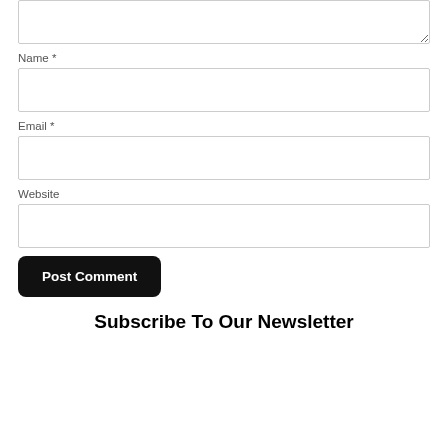[Figure (screenshot): Textarea input box (top of page, partially visible, with resize handle at bottom-right corner)]
Name *
[Figure (screenshot): Name text input field (empty)]
Email *
[Figure (screenshot): Email text input field (empty)]
Website
[Figure (screenshot): Website text input field (empty)]
[Figure (screenshot): Post Comment button (black, rounded corners)]
Subscribe To Our Newsletter